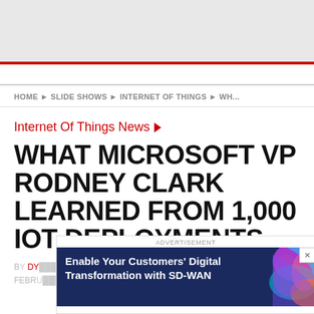HOME ▶ SLIDE SHOWS ▶ INTERNET OF THINGS ▶ WH...
Internet Of Things News ▶
WHAT MICROSOFT VP RODNEY CLARK LEARNED FROM 1,000 IOT DEPLOYMENTS
BY DY... FEBRU...
[Figure (other): Advertisement banner: 'Enable Your Customers' Digital Transformation with SD-WAN' on dark blue background with colorful abstract graphic on the right side and a close button (X)]